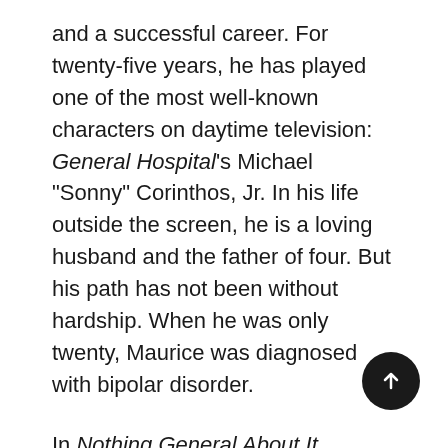and a successful career. For twenty-five years, he has played one of the most well-known characters on daytime television: General Hospital's Michael "Sonny" Corinthos, Jr. In his life outside the screen, he is a loving husband and the father of four. But his path has not been without hardship. When he was only twenty, Maurice was diagnosed with bipolar disorder.

In Nothing General About It, Maurice looks back to his youth in a small town and his tenuous relationship with his father. He describes how his bipolar disorder began to surface in childhood, how he struggled to understand the jolting mood swings he experienced, and how a doctor finally saved his life. For years Maurice was relentless in his goal to be a successful actor. But even after he "made it," he still grappled with terrifying lows